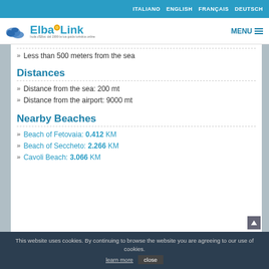ITALIANO  ENGLISH  FRANÇAIS  DEUTSCH
[Figure (logo): ElbaLink logo with island silhouette and golden circle, subtitle: Isola d'Elba: dal 1999 la tua guida turistica online]
Less than 500 meters from the sea
Distances
Distance from the sea: 200 mt
Distance from the airport: 9000 mt
Nearby Beaches
Beach of Fetovaia: 0.412 KM
Beach of Seccheto: 2.266 KM
Cavoli Beach: 3.066 KM
This website uses cookies. By continuing to browse the website you are agreeing to our use of cookies. learn more  close